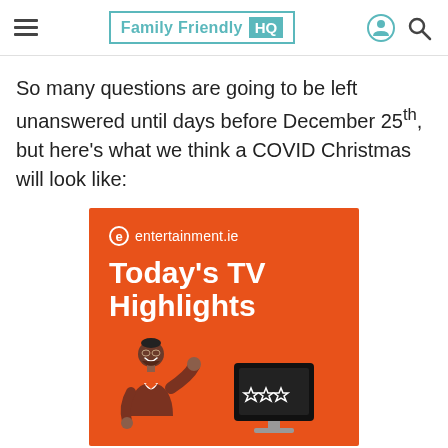Family Friendly HQ
So many questions are going to be left unanswered until days before December 25th, but here's what we think a COVID Christmas will look like:
[Figure (illustration): Orange advertisement banner for entertainment.ie showing 'Today's TV Highlights' with an illustrated man in a brown blazer gesturing and a TV monitor with stars]